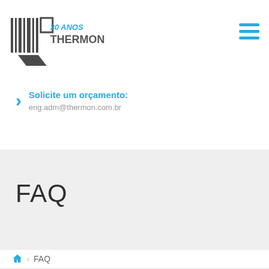[Figure (logo): Thermon 30 Anos logo with barcode-style graphic and company name]
Solicite um orçamento:
eng.adm@thermon.com.br
FAQ
🏠 › FAQ